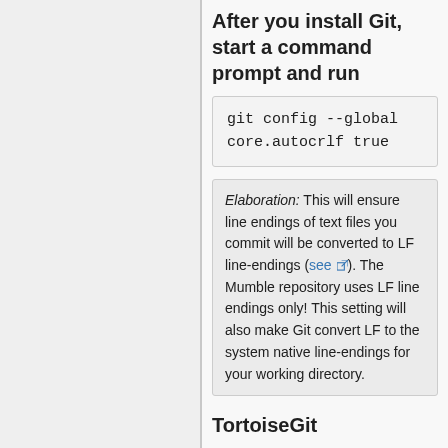After you install Git, start a command prompt and run
git config --global
core.autocrlf true
Elaboration: This will ensure line endings of text files you commit will be converted to LF line-endings (see). The Mumble repository uses LF line endings only! This setting will also make Git convert LF to the system native line-endings for your working directory.
TortoiseGit
TortoiseGit is a GUI frontend for Git. You can install this along with the one above for realtime information about changes to the Git code.